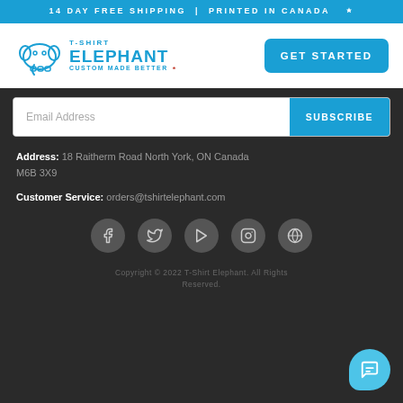14 DAY FREE SHIPPING | PRINTED IN CANADA 🍁
[Figure (logo): T-Shirt Elephant logo with elephant icon and text 'T-SHIRT ELEPHANT CUSTOM MADE BETTER' in blue]
GET STARTED
Email Address
SUBSCRIBE
Address: 18 Raitherm Road North York, ON Canada M6B 3X9
Customer Service: orders@tshirtelephant.com
[Figure (infographic): Social media icons row: Facebook, Twitter, YouTube, Instagram, WordPress — gray circular buttons]
Copyright © 2022 T-Shirt Elephant. All Rights Reserved.